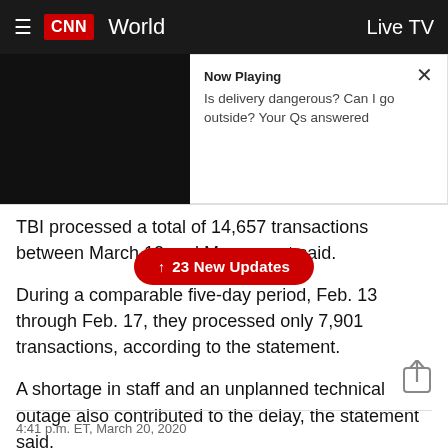CNN World — Live TV
[Figure (screenshot): CNN app navigation bar with hamburger menu, CNN logo, World section label, and Live TV button on dark background]
Now Playing
Is delivery dangerous? Can I go outside? Your Qs answered
TBI processed a total of 14,657 transactions between March 12 and Marc[h...] nt said.
↑ 23 New Updates
During a comparable five-day period, Feb. 13 through Feb. 17, they processed only 7,901 transactions, according to the statement.
A shortage in staff and an unplanned technical outage also contributed to the delay, the statement said.
4:41 p.m. ET, March 20, 2020